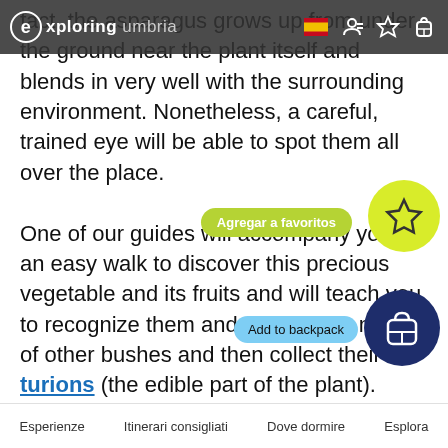Exploring Umbria – navigation bar with logo and icons
fact, the asparagus grows up from under the ground near the plant itself and blends in very well with the surrounding environment. Nonetheless, a careful, trained eye will be able to spot them all over the place.
One of our guides will accompany you on an easy walk to discover this precious vegetable and its fruits and will teach you to recognize them and them in the midst of other bushes and then collect their turions (the edible part of the plant).
Everything will proceed surrounded by greenery. As soon as the harvest is sufficient for the meal, you will return to the farm where the walk started. Here you can learn about the numerous uses of asparagus in the kitchen. You will attend and participate in the preparation of the dishes and have lunch based on dishes made with the freshly-picked
Esperienze    Itinerari consigliati    Dove dormire    Esplora